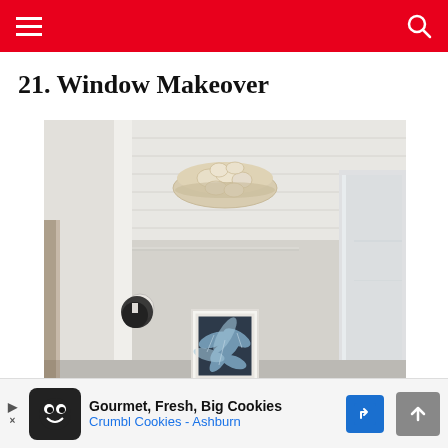Navigation bar with hamburger menu and search icon
21. Window Makeover
[Figure (photo): Interior hallway/bathroom photo showing white beadboard ceiling with a decorative capiz shell flush-mount light fixture, white walls, a wall sconce on the left, a framed botanical art print at the end of the hallway, and a glass shower enclosure on the right.]
Gourmet, Fresh, Big Cookies Crumbl Cookies - Ashburn [Advertisement]